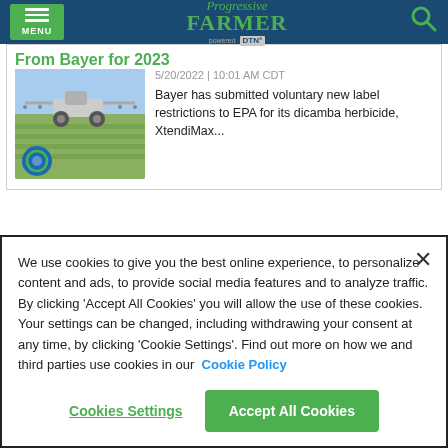Progressive FARMER powered by DTN
From Bayer for 2023
[Figure (photo): Agricultural sprayer in a green field with a certification badge overlay]
5/20/2022 | 10:01 AM CDT
Bayer has submitted voluntary new label restrictions to EPA for its dicamba herbicide, XtendiMax...
We use cookies to give you the best online experience, to personalize content and ads, to provide social media features and to analyze traffic. By clicking 'Accept All Cookies' you will allow the use of these cookies. Your settings can be changed, including withdrawing your consent at any time, by clicking 'Cookie Settings'. Find out more on how we and third parties use cookies in our  Cookie Policy
Cookies Settings | Accept All Cookies